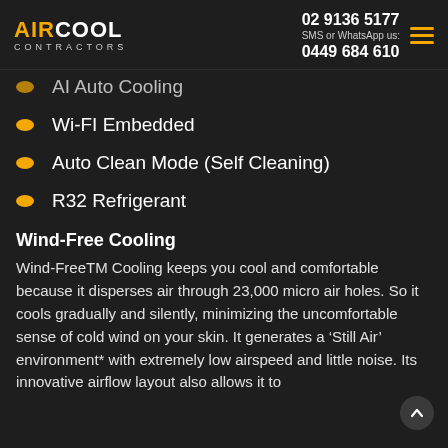AIR COOL CONTRACTORS | 02 9136 5177 | SMS or WhatsApp us: 0449 684 610
AI Auto Cooling
Wi-FI Embedded
Auto Clean Mode (Self Cleaning)
R32 Refrigerant
Wind-Free Cooling
Wind-FreeTM Cooling keeps you cool and comfortable because it disperses air through 23,000 micro air holes. So it cools gradually and silently, minimizing the uncomfortable sense of cold wind on your skin. It generates a ‘Still Air’ environment* with extremely low airspeed and little noise. Its innovative airflow layout also allows it to